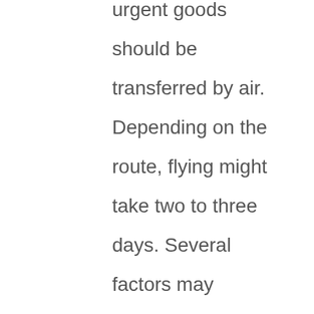urgent goods should be transferred by air. Depending on the route, flying might take two to three days. Several factors may influence the urgency of your shipping. Air